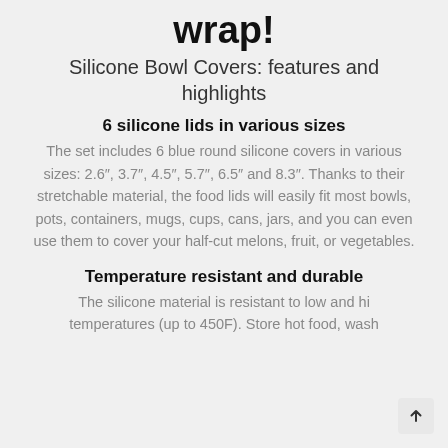wrap!
Silicone Bowl Covers: features and highlights
6 silicone lids in various sizes
The set includes 6 blue round silicone covers in various sizes: 2.6″, 3.7″, 4.5″, 5.7″, 6.5″ and 8.3″. Thanks to their stretchable material, the food lids will easily fit most bowls, pots, containers, mugs, cups, cans, jars, and you can even use them to cover your half-cut melons, fruit, or vegetables.
Temperature resistant and durable
The silicone material is resistant to low and high temperatures (up to 450F). Store hot food, wash